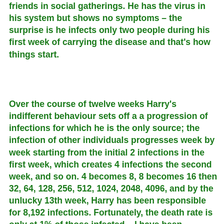friends in social gatherings. He has the virus in his system but shows no symptoms – the surprise is he infects only two people during his first week of carrying the disease and that's how things start.
Over the course of twelve weeks Harry's indifferent behaviour sets off a a progression of infections for which he is the only source; the infection of other individuals progresses week by week starting from the initial 2 infections in the first week, which creates 4 infections the second week, and so on. 4 becomes 8, 8 becomes 16 then 32, 64, 128, 256, 512, 1024, 2048, 4096, and by the unlucky 13th week, Harry has been responsible for 8,192 infections. Fortunately, the death rate is only at 1% of those infected – I have been generous because The World Heath Organisation gives a figure of 3.4% for COVID-19, but I'm thinking it might not be that high because there must be a lot of people infected who are not aware, due to a general lack of testing in so many places; and there must be a good numbers of